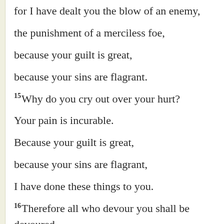for I have dealt you the blow of an enemy,
the punishment of a merciless foe,
because your guilt is great,
because your sins are flagrant.
15 Why do you cry out over your hurt?
Your pain is incurable.
Because your guilt is great,
because your sins are flagrant,
I have done these things to you.
16 Therefore all who devour you shall be devoured,
and all your foes, every one of them, shall go into captivity;
those who plunder you shall be plundered,
and all who prey on you I will make a prey.